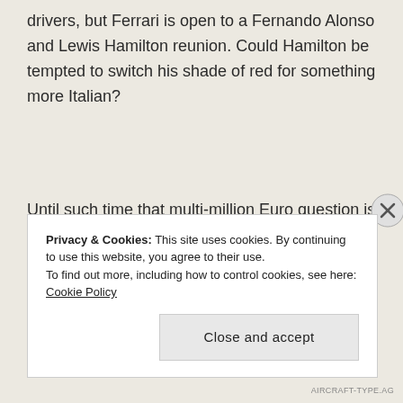drivers, but Ferrari is open to a Fernando Alonso and Lewis Hamilton reunion. Could Hamilton be tempted to switch his shade of red for something more Italian?
Until such time that multi-million Euro question is answered we can appreciate the post-Canadian Hamilton instead. Since his Canadian escapade a new
Privacy & Cookies: This site uses cookies. By continuing to use this website, you agree to their use.
To find out more, including how to control cookies, see here: Cookie Policy
Close and accept
AIRCRAFT-TYPE.AG